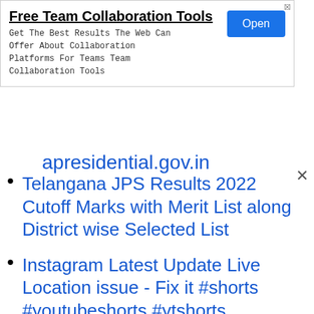[Figure (screenshot): Advertisement banner for 'Free Team Collaboration Tools' with an 'Open' button]
apresidential.gov.in
Telangana JPS Results 2022 Cutoff Marks with Merit List along District wise Selected List
Instagram Latest Update Live Location issue - Fix it #shorts #youtubeshorts #ytshorts
Instagram Location Problem -